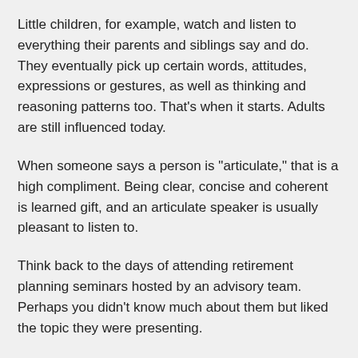Little children, for example, watch and listen to everything their parents and siblings say and do. They eventually pick up certain words, attitudes, expressions or gestures, as well as thinking and reasoning patterns too. That's when it starts. Adults are still influenced today.
When someone says a person is "articulate," that is a high compliment. Being clear, concise and coherent is learned gift, and an articulate speaker is usually pleasant to listen to.
Think back to the days of attending retirement planning seminars hosted by an advisory team. Perhaps you didn't know much about them but liked the topic they were presenting.
Are you any different than anyone else in the audience